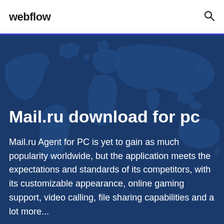webflow
[Figure (illustration): Dark blue hero background with a world map silhouette illustration in lighter blue tones]
Mail.ru download for pc
Mail.ru Agent for PC is yet to gain as much popularity worldwide, but the application meets the expectations and standards of its competitors, with its customizable appearance, online gaming support, video calling, file sharing capabilities and a lot more...